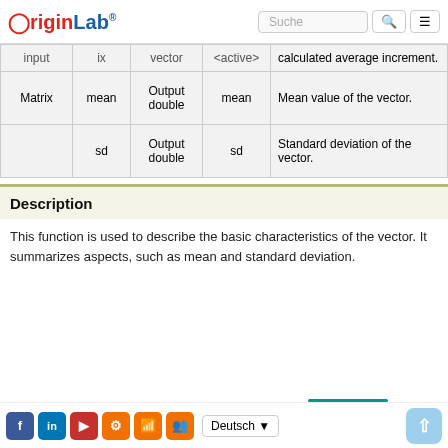OriginLab | Suche
|  |  |  |  |  |
| --- | --- | --- | --- | --- |
| input | ix | vector | <active> | calculated average increment. |
| Matrix | mean | Output double | mean | Mean value of the vector. |
|  | sd | Output double | sd | Standard deviation of the vector. |
Description
This function is used to describe the basic characteristics of the vector. It summarizes aspects, such as mean and standard deviation.
Deutsch